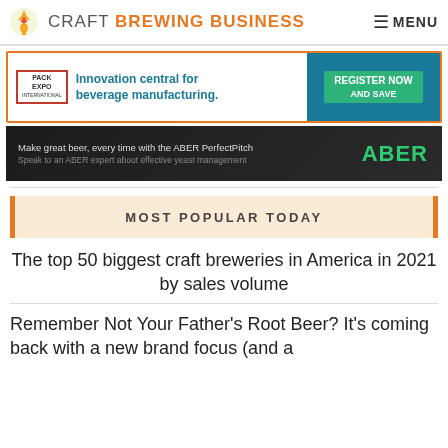CRAFT BREWING BUSINESS  MENU
[Figure (infographic): Pack Expo International banner ad: Innovation central for beverage manufacturing. Register Now and Save.]
[Figure (infographic): ABER PerfectPitch banner ad: Make great beer, every time with the ABER PerfectPitch. Speak to an ABER expert about effective yeast management.]
MOST POPULAR TODAY
The top 50 biggest craft breweries in America in 2021 by sales volume
Remember Not Your Father's Root Beer? It's coming back with a new brand focus (and a